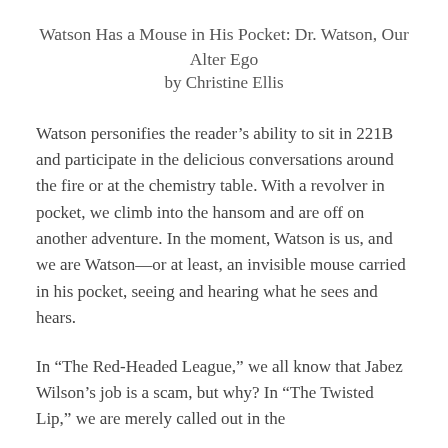Watson Has a Mouse in His Pocket: Dr. Watson, Our Alter Ego
by Christine Ellis
Watson personifies the reader's ability to sit in 221B and participate in the delicious conversations around the fire or at the chemistry table. With a revolver in pocket, we climb into the hansom and are off on another adventure. In the moment, Watson is us, and we are Watson—or at least, an invisible mouse carried in his pocket, seeing and hearing what he sees and hears.
In “The Red-Headed League,” we all know that Jabez Wilson’s job is a scam, but why? In “The Twisted Lip,” we are merely called out in the